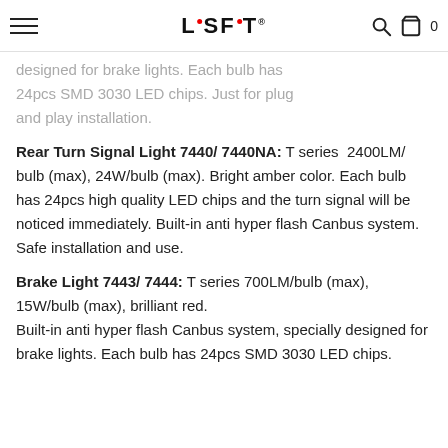LASFIT (navigation bar with hamburger menu, search icon, cart icon with 0)
designed for brake lights. Each bulb has 24pcs SMD 3030 LED chips. Just for plug and play installation.
Rear Turn Signal Light 7440/ 7440NA: T series 2400LM/ bulb (max), 24W/bulb (max). Bright amber color. Each bulb has 24pcs high quality LED chips and the turn signal will be noticed immediately. Built-in anti hyper flash Canbus system. Safe installation and use.
Brake Light 7443/ 7444: T series 700LM/bulb (max), 15W/bulb (max), brilliant red. Built-in anti hyper flash Canbus system, specially designed for brake lights. Each bulb has 24pcs SMD 3030 LED chips.